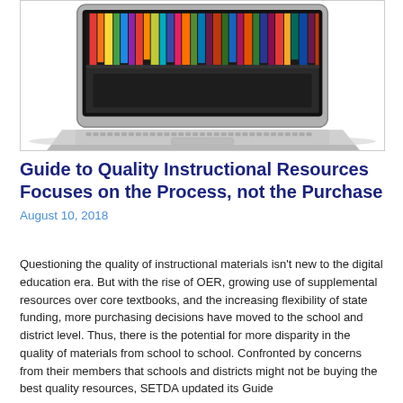[Figure (photo): Laptop computer with colorful books/pencils displayed on the screen, photographed at an angle on a white background.]
Guide to Quality Instructional Resources Focuses on the Process, not the Purchase
August 10, 2018
Questioning the quality of instructional materials isn't new to the digital education era. But with the rise of OER, growing use of supplemental resources over core textbooks, and the increasing flexibility of state funding, more purchasing decisions have moved to the school and district level. Thus, there is the potential for more disparity in the quality of materials from school to school. Confronted by concerns from their members that schools and districts might not be buying the best quality resources, SETDA updated its Guide